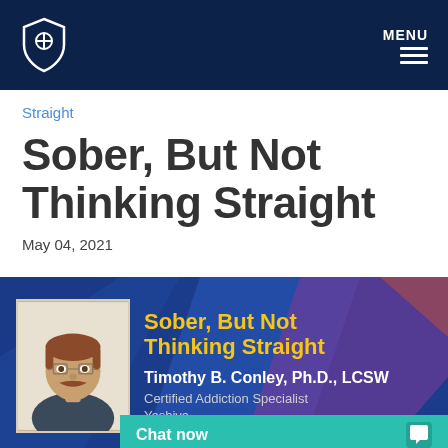MENU
Straight
Sober, But Not Thinking Straight
May 04, 2021
[Figure (photo): Podcast/article thumbnail card showing a man with reddish hair and glasses, mustache, wearing a dark shirt. Text overlay reads: Sober, But Not Thinking Straight. Timothy B. Conley, Ph.D., LCSW. Certified Addiction Specialist. Yeshiva [University]. A teal Chat now bar overlays the bottom.]
Timothy B. Conley, Ph.D., LCSW
Certified Addiction Specialist
Yeshiva
Chat now